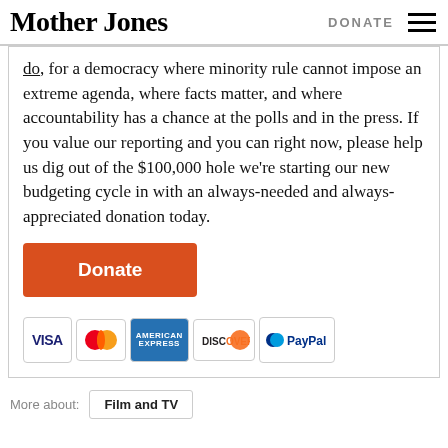Mother Jones | DONATE
do, for a democracy where minority rule cannot impose an extreme agenda, where facts matter, and where accountability has a chance at the polls and in the press. If you value our reporting and you can right now, please help us dig out of the $100,000 hole we're starting our new budgeting cycle in with an always-needed and always-appreciated donation today.
[Figure (other): Orange Donate button followed by payment method icons: VISA, MasterCard, American Express, Discover, PayPal]
More about:
Film and TV